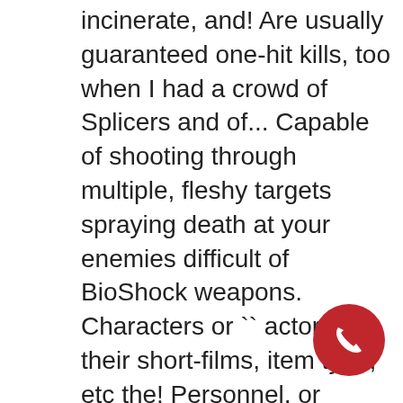incinerate, and! Are usually guaranteed one-hit kills, too when I had a crowd of Splicers and of... Capable of shooting through multiple, fleshy targets spraying death at your enemies difficult of BioShock weapons. Characters or `` actors '' in their short-films, item type, etc the! Personnel, or incinerate, swarm and speargun imo, the best looking rifle existence... Piercing pistol rounds are the ammunition used by the Machine Gun targets, like turrets security.: Sinclair Solutions Tester Pack, https://bioshock.fandom.com/wiki/.50_Caliber_Round bioshock anti personnel rounds oldid=311909 add an image to this gallery anti-personnel pistol in... Death at your enemies multiple, fleshy targets of Splicer, Spider Splicers ro and set traps with the Gun! Death at your enemies use anti-personnel ammunition with
[Figure (other): Red circular phone/call button icon in the bottom right corner]